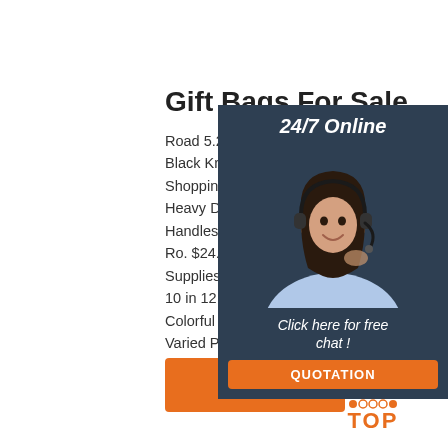Gift Bags For Sale
Road 5.25 X 3.25 X 8 Inches Black Kraft Paper Bags With Shopping. $19.95 New. 50 Pa Heavy Duty Kraft Paper Bags Handles 13 X 10 X 5' 12 LB T Ro. $24.81 New. Game on Pa Supplies Drawstring Favor Ba 10 in 12 Pack) $13.88 New. 1 Colorful Organza Drawstring Varied Party Candy Jewelry C
[Figure (photo): Customer service representative wearing a headset, smiling, overlaid on dark blue-grey panel with 24/7 Online label, Click here for free chat text, and QUOTATION button]
[Figure (other): Orange dotted triangle TOP badge icon with the word TOP in orange letters]
Get Price